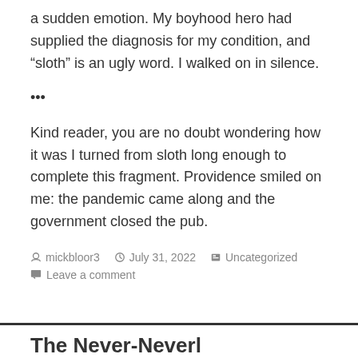a sudden emotion. My boyhood hero had supplied the diagnosis for my condition, and “sloth” is an ugly word. I walked on in silence.
•••
Kind reader, you are no doubt wondering how it was I turned from sloth long enough to complete this fragment. Providence smiled on me: the pandemic came along and the government closed the pub.
mickbloor3  July 31, 2022  Uncategorized
Leave a comment